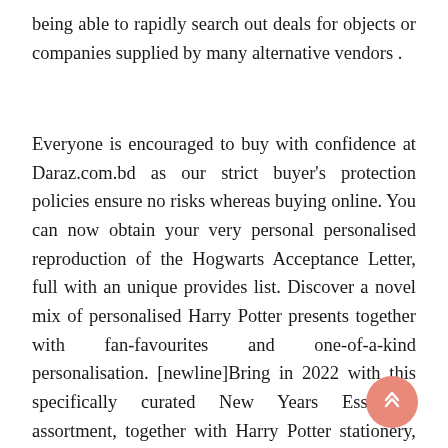being able to rapidly search out deals for objects or companies supplied by many alternative vendors .
Everyone is encouraged to buy with confidence at Daraz.com.bd as our strict buyer's protection policies ensure no risks whereas buying online. You can now obtain your very personal personalised reproduction of the Hogwarts Acceptance Letter, full with an unique provides list. Discover a novel mix of personalised Harry Potter presents together with fan-favourites and one-of-a-kind personalisation. [newline]Bring in 2022 with this specifically curated New Years Essentials assortment, together with Harry Potter stationery, bags, and homeware. The new Numina collection is crystal uncovered.